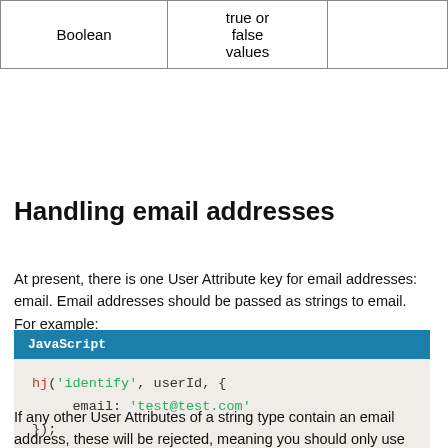| Boolean | true or false values |  |
Handling email addresses
At present, there is one User Attribute key for email addresses: email. Email addresses should be passed as strings to email. For example:
JavaScript
hj('identify', userId, {
     email: 'test@test.com'
});
If any other User Attributes of a string type contain an email address, these will be rejected, meaning you should only use `email` to pass email addresses.